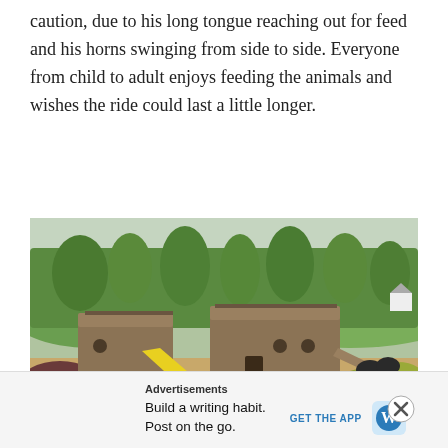caution, due to his long tongue reaching out for feed and his horns swinging from side to side. Everyone from child to adult enjoys feeding the animals and wishes the ride could last a little longer.
[Figure (photo): Aerial view of a wooden pirate ship-shaped playground structure with a yellow slide, connected sections, and a ramp, surrounded by green trees, shrubs, and sandy ground.]
Advertisements
Build a writing habit. Post on the go.
GET THE APP